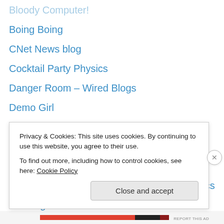Bloody Computer!
Boing Boing
CNet News blog
Cocktail Party Physics
Danger Room – Wired Blogs
Demo Girl
Digital Inspiration
Download Squad
Engadget
FlowingData | Data Visualization and Statistics
Foo Logs
Geeks Are Sexy
GigaOM
Gizmo Coded Name
Privacy & Cookies: This site uses cookies. By continuing to use this website, you agree to their use.
To find out more, including how to control cookies, see here: Cookie Policy
Close and accept